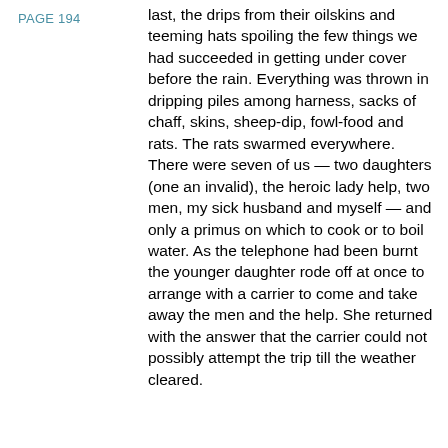PAGE 194
last, the drips from their oilskins and teeming hats spoiling the few things we had succeeded in getting under cover before the rain. Everything was thrown in dripping piles among harness, sacks of chaff, skins, sheep-dip, fowl-food and rats. The rats swarmed everywhere. There were seven of us — two daughters (one an invalid), the heroic lady help, two men, my sick husband and myself — and only a primus on which to cook or to boil water. As the telephone had been burnt the younger daughter rode off at once to arrange with a carrier to come and take away the men and the help. She returned with the answer that the carrier could not possibly attempt the trip till the weather cleared.